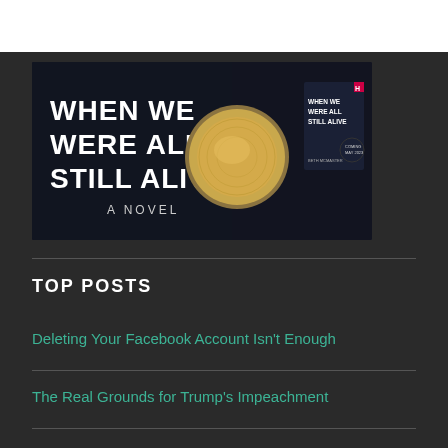[Figure (illustration): Book advertisement banner for 'When We Were All Still Alive: A Novel' showing golden door knobs on a dark background with the book cover on the right side]
TOP POSTS
Deleting Your Facebook Account Isn't Enough
The Real Grounds for Trump's Impeachment